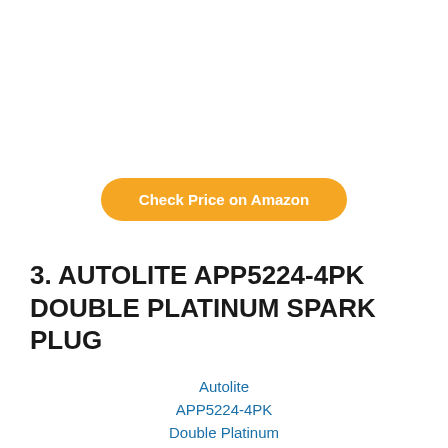[Figure (other): Orange rounded button labeled 'Check Price on Amazon']
3. AUTOLITE APP5224-4PK DOUBLE PLATINUM SPARK PLUG
[Figure (photo): Broken image placeholder for Autolite APP5224-4PK Double Platinum Spark Plug, Pack of 4]